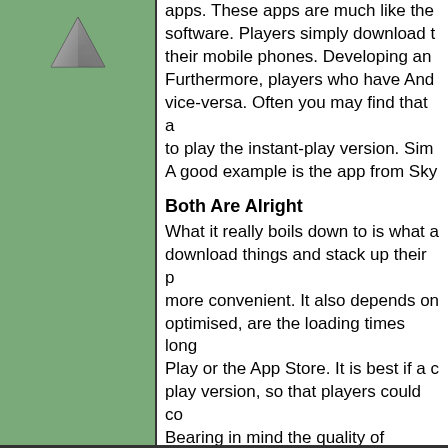[Figure (illustration): Triangle/pyramid icon on green sidebar background]
apps. These apps are much like the software. Players simply download their mobile phones. Developing an Furthermore, players who have And vice-versa. Often you may find that to play the instant-play version. Sim A good example is the app from Sky
Both Are Alright
What it really boils down to is what a download things and stack up their p more convenient. It also depends on optimised, are the loading times long Play or the App Store. It is best if a c play version, so that players could c Bearing in mind the quality of smartp
Home | Index | Information | Links | Lotteries | Casino Gambling | Games | 
This docume
Material Copyright ©